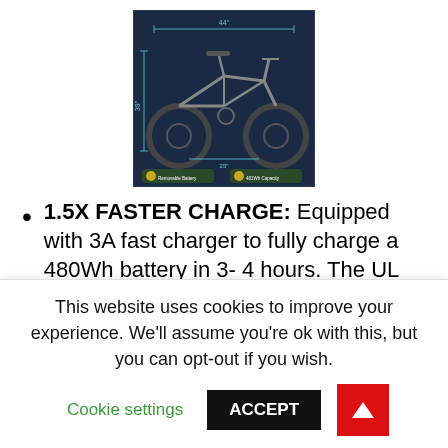[Figure (schematic): Electric fat-tire folding bike with dimension annotations on dark blue background, showing bike measurements and UL listing badge]
1.5X FASTER CHARGE: Equipped with 3A fast charger to fully charge a 480Wh battery in 3- 4 hours. The UL Listed 48V/10Ah lithium-ion battery can be easily removed without any tools and locked with a key for safe storage, convenient to charge on/off the bike. You can cruise for 25-28 miles in all-electric mode and 32-50 miles in pedal-assisted mode.
This website uses cookies to improve your experience. We'll assume you're ok with this, but you can opt-out if you wish.
Cookie settings   ACCEPT